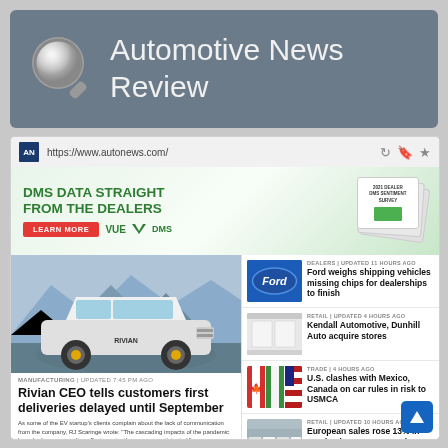Automotive News Review
[Figure (screenshot): Browser screenshot of autonews.com website showing automotive news articles including Rivian CEO article and other news items with an ad banner for DMS Data]
https://www.autonews.com/
[Figure (photo): Advertisement banner: DMS DATA STRAIGHT FROM THE DEALERS - LEARN MORE - VUE DMS]
[Figure (photo): Main article image: Rivian electric pickup truck in mountain setting]
MANUFACTURING | UPDATED 7:45 PM AGO
Rivian CEO tells customers first deliveries delayed until September
As some of the EV startup's clients complain about the lack of communication from the company, RJ Scaringe wrote: "The cascading impacts of the pandemic have had a compounding effect greater than anyone anticipated."
[Figure (photo): Ford logo badge - blue oval]
DEALERS | UPDATED 11 HOURS AGO
Ford weighs shipping vehicles missing chips for dealerships to finish
[Figure (photo): Kendall Automotive / Dunhill building exterior]
RETAIL | UPDATED 4 HOURS AGO
Kendall Automotive, Dunhill Auto acquire stores
[Figure (photo): Flags of Mexico, Canada and USA]
TRADE | 4 HOURS AGO
U.S. clashes with Mexico, Canada on car rules in risk to USMCA
[Figure (photo): Row of cars at dealership lot]
RETAIL | UPDATED 10 HOURS AGO
European sales rose 13% in - pandemic recovery continues